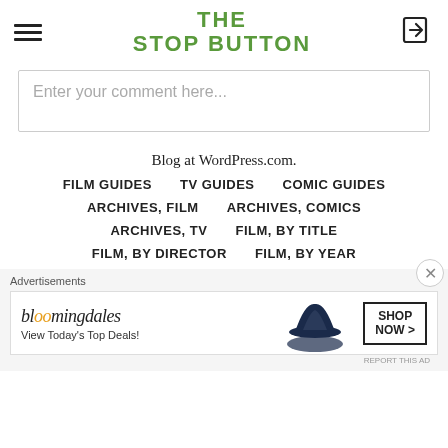THE STOP BUTTON
Enter your comment here...
Blog at WordPress.com.
FILM GUIDES
TV GUIDES
COMIC GUIDES
ARCHIVES, FILM
ARCHIVES, COMICS
ARCHIVES, TV
FILM, BY TITLE
FILM, BY DIRECTOR
FILM, BY YEAR
Advertisements
[Figure (infographic): Bloomingdale's advertisement banner with text 'View Today's Top Deals!' and 'SHOP NOW >' button, featuring a woman in a wide-brim hat]